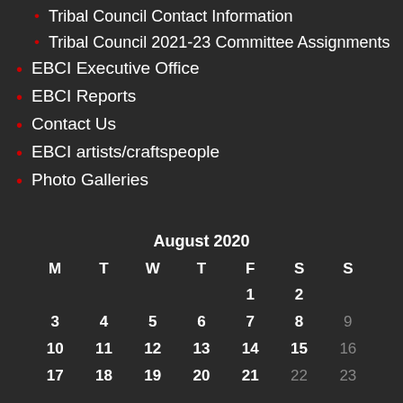Tribal Council Contact Information
Tribal Council 2021-23 Committee Assignments
EBCI Executive Office
EBCI Reports
Contact Us
EBCI artists/craftspeople
Photo Galleries
| M | T | W | T | F | S | S |
| --- | --- | --- | --- | --- | --- | --- |
|  |  |  |  | 1 | 2 |  |
| 3 | 4 | 5 | 6 | 7 | 8 | 9 |
| 10 | 11 | 12 | 13 | 14 | 15 | 16 |
| 17 | 18 | 19 | 20 | 21 | 22 | 23 |